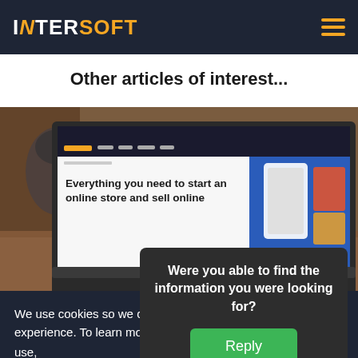INTERSOFT
Other articles of interest...
[Figure (screenshot): Laptop screen showing Shopify website with text 'Everything you need to start an online store and sell online', with e-commerce UI visible on screen. Blurred dark background with vase.]
We use cookies so we can provide you with the best online experience. To learn more, and to see a full list of cookies we use,
Were you able to find the information you were looking for?
Reply